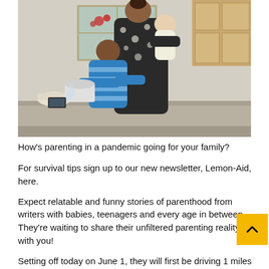[Figure (photo): A woman in a black and white patterned top holds a baby while a toddler in a blue striped shirt reaches across a kitchen counter, spilling something. Kitchen setting with cabinets and bowls visible in background.]
How's parenting in a pandemic going for your family?
For survival tips sign up to our new newsletter, Lemon-Aid, here.
Expect relatable and funny stories of parenthood from writers with babies, teenagers and every age in between. They're waiting to share their unfiltered parenting reality with you!
Setting off today on June 1, they will first be driving 1 miles to Minnesota, before slowly working their way down south during the colder winter months. And while the road